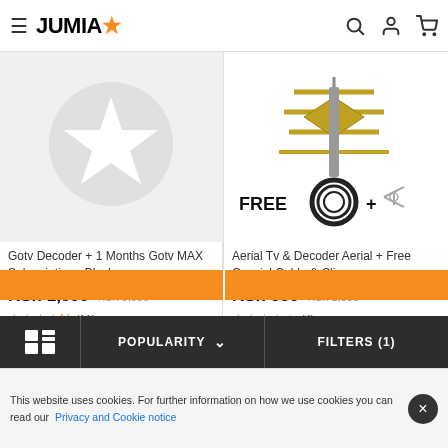JUMIA
[Figure (screenshot): Jumia product listing page showing two products: Gotv Decoder and Aerial TV & Decoder Aerial]
Gotv Decoder + 1 Months Gotv MAX Subscription - Black
KSh 1,999 KSh 3,998
★★★★½ (11)
Aerial Tv & Decoder Aerial + Free Coaxial Cable & Clips
KSh 999 KSh 1,000
★★★★☆ (4)
POPULARITY ∨   FILTERS (1)
This website uses cookies. For further information on how we use cookies you can read our  Privacy and Cookie notice